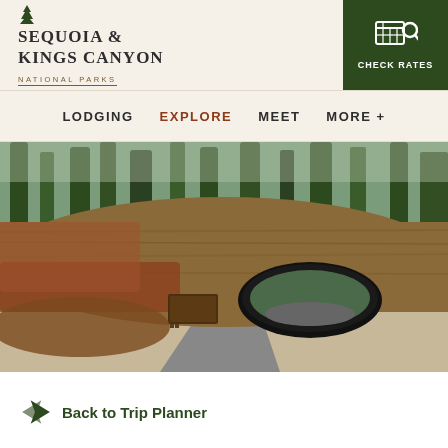[Figure (logo): Sequoia & Kings Canyon National Parks logo with tree icon]
[Figure (other): Check Rates button with calendar/search icon on dark green background]
LODGING   EXPLORE   MEET   MORE +
[Figure (photo): Photo of a fallen giant sequoia tree with a tunnel cut through it (tunnel log), with a road passing through and forest in background]
Back to Trip Planner